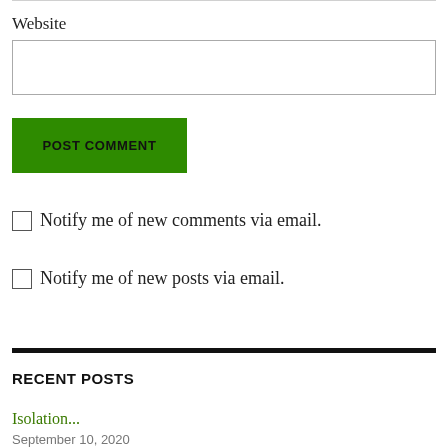Website
POST COMMENT
Notify me of new comments via email.
Notify me of new posts via email.
RECENT POSTS
Isolation...
September 10, 2020